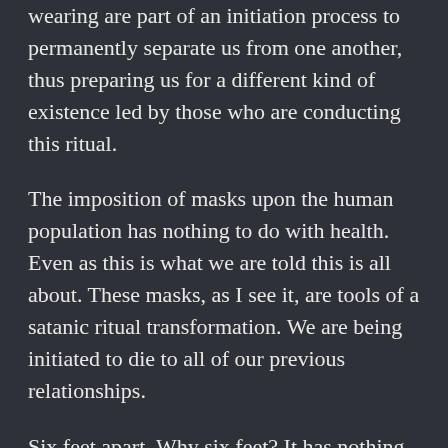wearing are part of an initiation process to permanently separate us from one another, thus preparing us for a different kind of existence led by those who are conducting this ritual.
The imposition of masks upon the human population has nothing to do with health. Even as this is what we are told this is all about. These masks, as I see it, are tools of a satanic ritual transformation. We are being initiated to die to all of our previous relationships.
Six feet apart. Why six feet? It has nothing to do with germs or how far you can spit. Six feet has symbolic weight. Symbols and messaging are received deep within us. What is the significance of six feet? We bury people six feet under the ground. Six feet and...